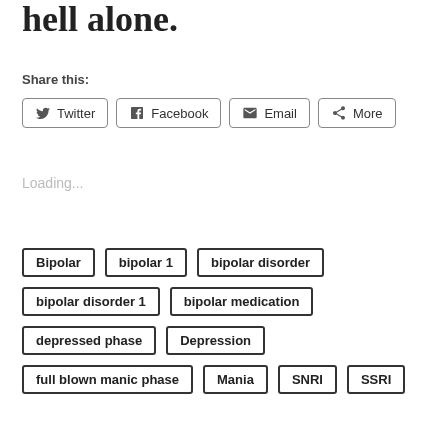hell alone.
Share this:
Twitter  Facebook  Email  More
Loading...
Bipolar
bipolar 1
bipolar disorder
bipolar disorder 1
bipolar medication
depressed phase
Depression
full blown manic phase
Mania
SNRI
SSRI